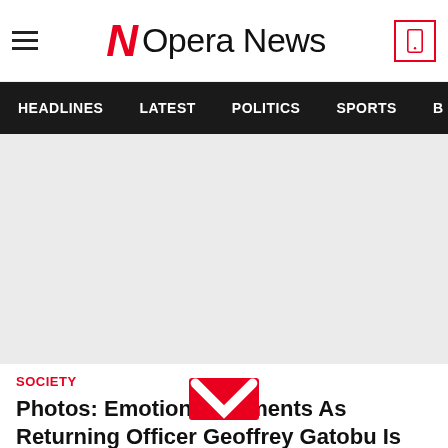Opera News
HEADLINES  LATEST  POLITICS  SPORTS  B
[Figure (photo): Large image placeholder (light gray background) for article about Geoffrey Gatobu]
SOCIETY
Photos: Emotional Moments As Returning Officer Geoffrey Gatobu Is Laid To Rest